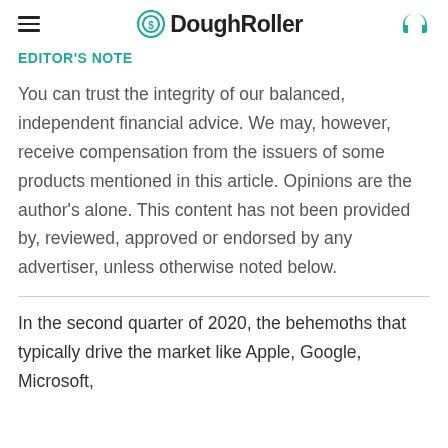DoughRoller
Editor's Note
You can trust the integrity of our balanced, independent financial advice. We may, however, receive compensation from the issuers of some products mentioned in this article. Opinions are the author's alone. This content has not been provided by, reviewed, approved or endorsed by any advertiser, unless otherwise noted below.
In the second quarter of 2020, the behemoths that typically drive the market like Apple, Google, Microsoft,